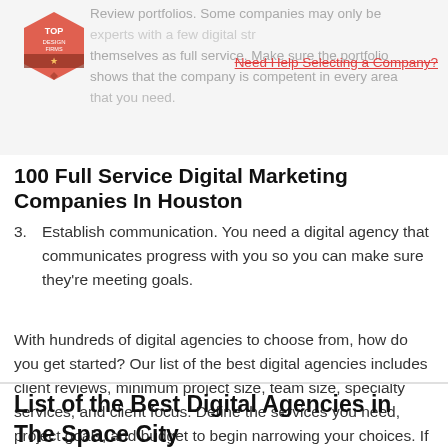[Figure (logo): Top Design Firms hexagon logo badge in salmon/red color]
Review portfolios. Some companies may only be experts with a few digital strategies, but they advertise themselves as full service. Make sure the portfolio shows that the company is competent in every area that you need.
Need Help Selecting a Company?
100 Full Service Digital Marketing Companies In Houston
3. Establish communication. You need a digital agency that communicates progress with you so you can make sure they're meeting goals.
With hundreds of digital agencies to choose from, how do you get started? Our list of the best digital agencies includes client reviews, minimum project size, team size, specialty services, and client focus. Define the services you need, project goals, and budget to begin narrowing your choices. If you need help creating a shortlist, tell us about your project and receive personalized recommendations.
List of the Best Digital Agencies in The Space City